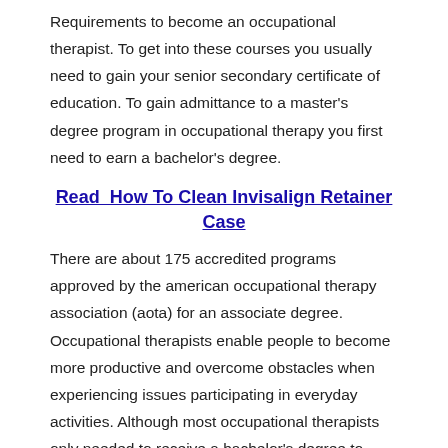Requirements to become an occupational therapist. To get into these courses you usually need to gain your senior secondary certificate of education. To gain admittance to a master's degree program in occupational therapy you first need to earn a bachelor's degree.
Read  How To Clean Invisalign Retainer Case
There are about 175 accredited programs approved by the american occupational therapy association (aota) for an associate degree. Occupational therapists enable people to become more productive and overcome obstacles when experiencing issues participating in everyday activities. Although most occupational therapists only needed to receive a bachelor's degree to become licensed previously, all states except colorado began mandating that occupational therapist professionals have at least a master's degree in 2007.